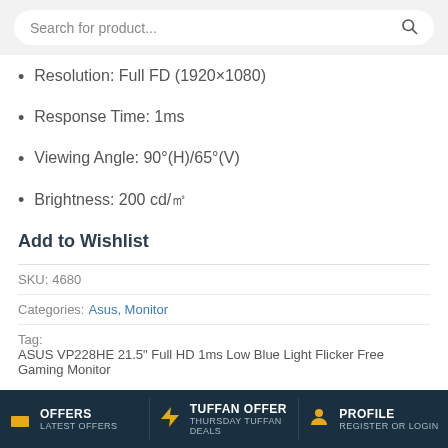Search for product...
Resolution: Full FD (1920×1080)
Response Time: 1ms
Viewing Angle: 90°(H)/65°(V)
Brightness: 200 cd/㎡
Add to Wishlist
SKU: 4680
Categories: Asus, Monitor
Tag: ASUS VP228HE 21.5" Full HD 1ms Low Blue Light Flicker Free Gaming Monitor
[Figure (infographic): Social sharing icons: WhatsApp, Facebook, Twitter, Email, Pinterest, LinkedIn — all circular outline icons]
OFFERS LATEST OFFERS | TUFFAN OFFER THURSDAY TUFFAN DEALS | PROFILE REGISTER OR LOGIN